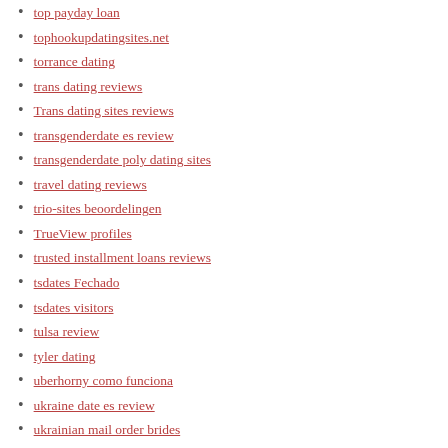top payday loan
tophookupdatingsites.net
torrance dating
trans dating reviews
Trans dating sites reviews
transgenderdate es review
transgenderdate poly dating sites
travel dating reviews
trio-sites beoordelingen
TrueView profiles
trusted installment loans reviews
tsdates Fechado
tsdates visitors
tulsa review
tyler dating
uberhorny como funciona
ukraine date es review
ukrainian mail order brides
Uncategorized
uniform dating review
unsecured installment loans
upforit username
upforit visitors
usa payday loan
usa title loans